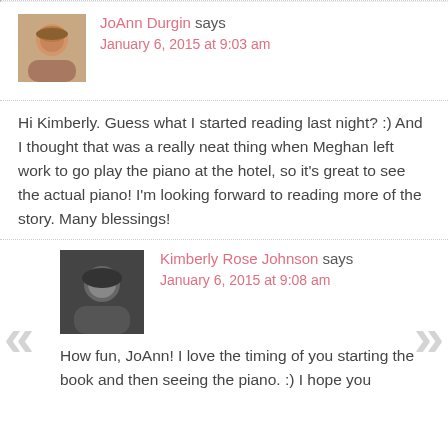JoAnn Durgin says
January 6, 2015 at 9:03 am
Hi Kimberly. Guess what I started reading last night? :) And I thought that was a really neat thing when Meghan left work to go play the piano at the hotel, so it's great to see the actual piano! I'm looking forward to reading more of the story. Many blessings!
Kimberly Rose Johnson says
January 6, 2015 at 9:08 am
How fun, JoAnn! I love the timing of you starting the book and then seeing the piano. :) I hope you